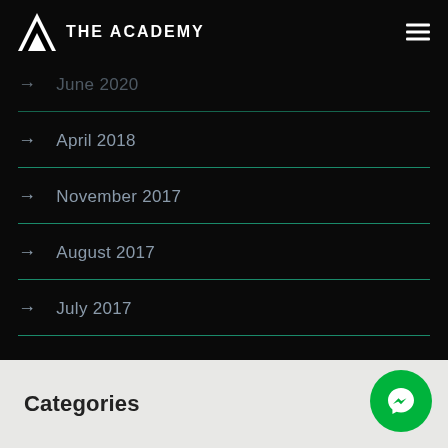THE ACADEMY
June 2020
April 2018
November 2017
August 2017
July 2017
Categories